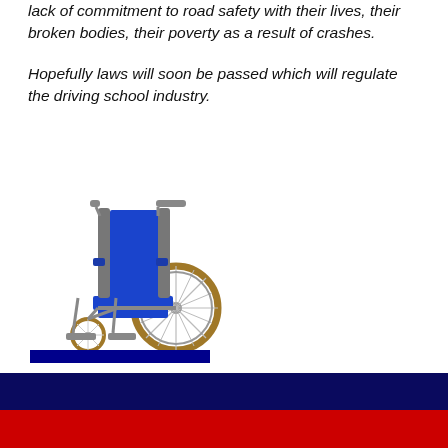lack of commitment to road safety with their lives, their broken bodies, their poverty as a result of crashes.

Hopefully laws will soon be passed which will regulate the driving school industry.
[Figure (photo): A blue and chrome wheelchair on a white background with a navy blue bar beneath it.]
Copyright © 2007-2009